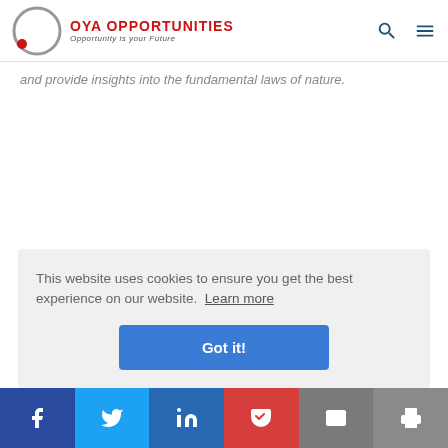OYA OPPORTUNITIES — Opportunity is your Future
and provide insights into the fundamental laws of nature.
This website uses cookies to ensure you get the best experience on our website. Learn more
Got it!
Social sharing bar: Facebook, Twitter, LinkedIn, Pocket, Email, Print